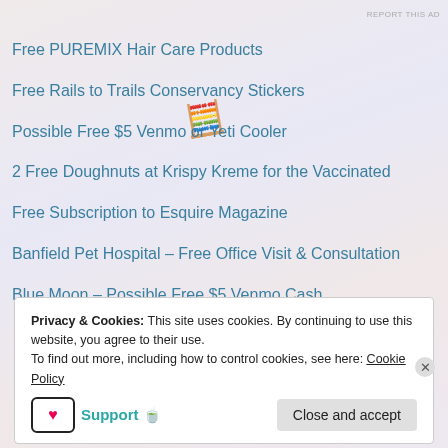Free PUREMIX Hair Care Products
Free Rails to Trails Conservancy Stickers
Possible Free $5 Venmo or Yeti Cooler
2 Free Doughnuts at Krispy Kreme for the Vaccinated
Free Subscription to Esquire Magazine
Banfield Pet Hospital – Free Office Visit & Consultation
Blue Moon – Possible Free $5 Venmo Cash
Privacy & Cookies: This site uses cookies. By continuing to use this website, you agree to their use.
To find out more, including how to control cookies, see here: Cookie Policy
Support 🍵
Close and accept